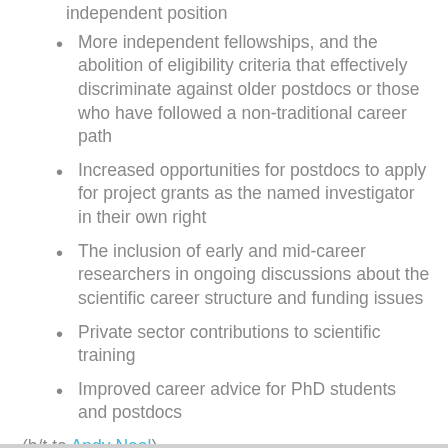independent position
More independent fellowships, and the abolition of eligibility criteria that effectively discriminate against older postdocs or those who have followed a non-traditional career path
Increased opportunities for postdocs to apply for project grants as the named investigator in their own right
The inclusion of early and mid-career researchers in ongoing discussions about the scientific career structure and funding issues
Private sector contributions to scientific training
Improved career advice for PhD students and postdocs
(h/t to Andy Neal)